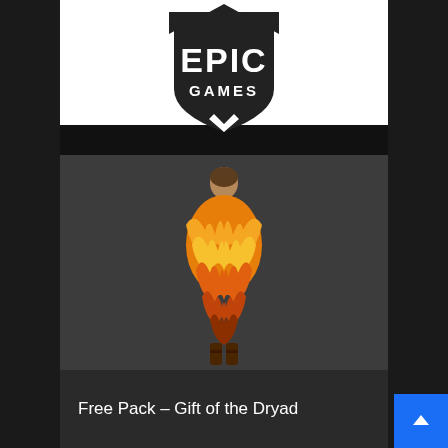[Figure (logo): Epic Games shield logo with 'EPIC GAMES' text in white on dark background]
[Figure (photo): 3D character model seen from back, wearing a orange/yellow leafy dryad costume dress, set against dark gray background]
Free Pack - Gift of the Dryad